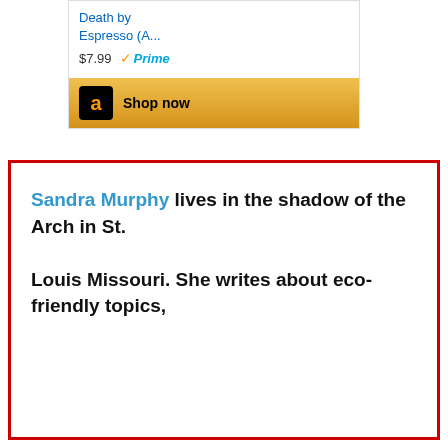[Figure (screenshot): Amazon advertisement box showing book 'Death by Espresso (A...' priced at $7.99 with Prime badge and Shop now button with Amazon logo]
Sandra Murphy lives in the shadow of the Arch in St. Louis Missouri. She writes about eco-friendly topics,
This website uses cookies to ensure you get the best experience on our website. Learn more
Got it